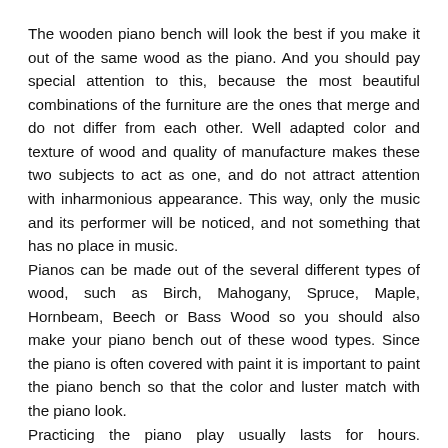The wooden piano bench will look the best if you make it out of the same wood as the piano. And you should pay special attention to this, because the most beautiful combinations of the furniture are the ones that merge and do not differ from each other. Well adapted color and texture of wood and quality of manufacture makes these two subjects to act as one, and do not attract attention with inharmonious appearance. This way, only the music and its performer will be noticed, and not something that has no place in music.
Pianos can be made out of the several different types of wood, such as Birch, Mahogany, Spruce, Maple, Hornbeam, Beech or Bass Wood so you should also make your piano bench out of these wood types. Since the piano is often covered with paint it is important to paint the piano bench so that the color and luster match with the piano look.
Practicing the piano play usually lasts for hours. Therefore, a wooden seat can be extremely uncomfortable (especially